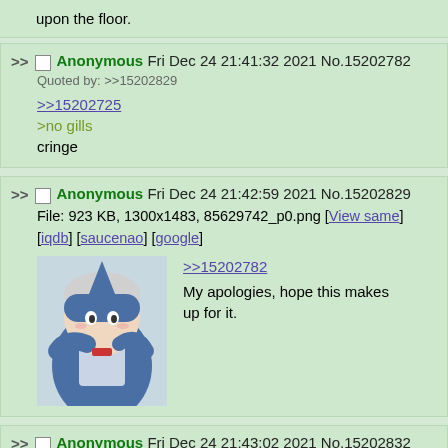upon the floor.
Anonymous Fri Dec 24 21:41:32 2021 No.15202782
Quoted by: >>15202829
>>15202725
>no gills
cringe
Anonymous Fri Dec 24 21:42:59 2021 No.15202829
File: 923 KB, 1300x1483, 85629742_p0.png [View same] [iqdb] [saucenao] [google]
>>15202782
My apologies, hope this makes up for it.
Anonymous Fri Dec 24 21:43:02 2021 No.15202832
Quoted by: >>15202845
>>15199878
wha...what are they doing with their hands?